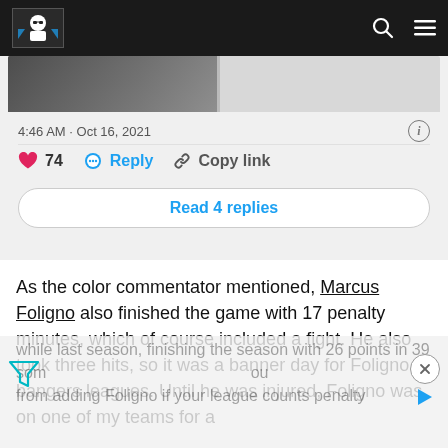[Figure (screenshot): Navigation bar with site logo (illustrated person with sunglasses) and search/menu icons on dark background]
[Figure (photo): Partially visible cropped tweet image showing crowd/event scene]
4:46 AM · Oct 16, 2021
❤ 74   Reply   Copy link
Read 4 replies
As the color commentator mentioned, Marcus Foligno also finished the game with 17 penalty minutes, which of course included a fight. He also took three hits, so it was a banner day for Foligno in bangers leagues. Until he was injured, Foligno was on one of my teams for a while last season, finishing the season with 26 points in 39 som                                              ou from adding Foligno if your league counts penalty